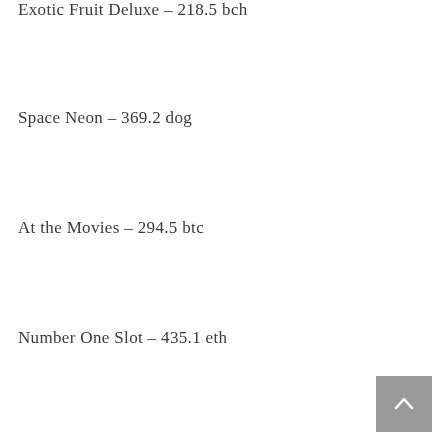Exotic Fruit Deluxe – 218.5 bch
Space Neon – 369.2 dog
At the Movies – 294.5 btc
Number One Slot – 435.1 eth